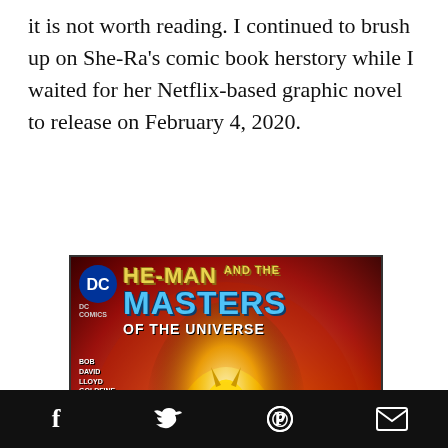it is not worth reading. I continued to brush up on She-Ra's comic book herstory while I waited for her Netflix-based graphic novel to release on February 4, 2020.
[Figure (illustration): Comic book cover of He-Man and the Masters of the Universe featuring She-Ra as central figure holding a sword, surrounded by fantasy characters, published by DC Comics]
Social share icons: Facebook, Twitter, Pinterest, Email